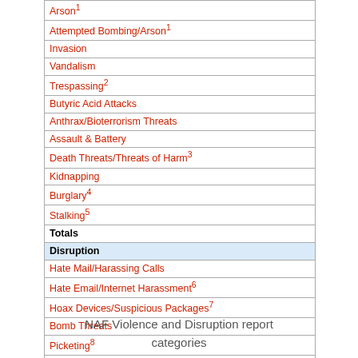| Category |
| --- |
| Arson¹ |
| Attempted Bombing/Arson¹ |
| Invasion |
| Vandalism |
| Trespassing² |
| Butyric Acid Attacks |
| Anthrax/Bioterrorism Threats |
| Assault & Battery |
| Death Threats/Threats of Harm³ |
| Kidnapping |
| Burglary⁴ |
| Stalking⁵ |
| Totals |
| Disruption |
| Hate Mail/Harassing Calls |
| Hate Email/Internet Harassment⁶ |
| Hoax Devices/Suspicious Packages⁷ |
| Bomb Threats |
| Picketing⁸ |
| Obstruction⁹ |
| Totals |
| Clinic Blockades |
| Number of Incidents |
| Number of Arrests¹⁰ |
NAF Violence and Disruption report categories